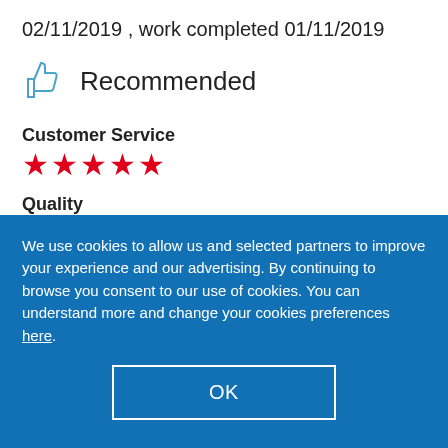02/11/2019 , work completed 01/11/2019
Recommended
Customer Service
[Figure (other): Five red star rating icons for Customer Service]
Quality
[Figure (other): Five red star rating icons for Quality]
Value
We use cookies to allow us and selected partners to improve your experience and our advertising. By continuing to browse you consent to our use of cookies. You can understand more and change your cookies preferences here.
OK